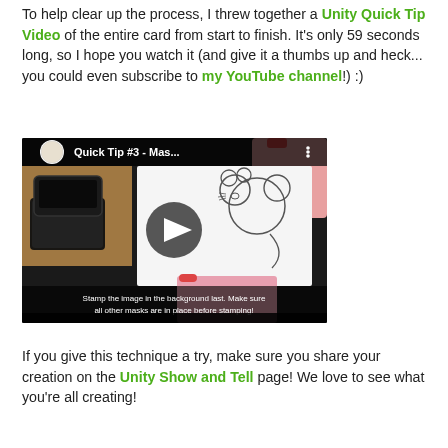To help clear up the process, I threw together a Unity Quick Tip Video of the entire card from start to finish. It's only 59 seconds long, so I hope you watch it (and give it a thumbs up and heck... you could even subscribe to my YouTube channel!) :)
[Figure (screenshot): Embedded YouTube video thumbnail showing 'Quick Tip #3 - Mas...' with a play button, showing hands stamping a cartoon animal image on a card. Subtitle text: 'Stamp the image in the background last. Make sure all other masks are in place before stamping!']
If you give this technique a try, make sure you share your creation on the Unity Show and Tell page! We love to see what you're all creating!